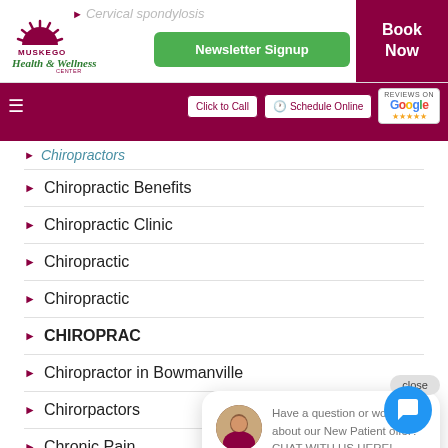[Figure (screenshot): Website header for Muskego Health & Wellness Center with logo, Newsletter Signup button, and Book Now button]
[Figure (screenshot): Navigation bar with hamburger menu, Click to Call, Schedule Online buttons, and Google reviews logo]
Chiropractors
Chiropractic Benefits
Chiropractic Clinic
Chiropractic [partially hidden]
Chiropractic [partially hidden]
CHIROPRAC[partially hidden]
Chiropractor in Bowmanville
Chiropactors
Chronic Pain
Have a question or wondering about our New Patient offer? CHAT WITH US HERE!